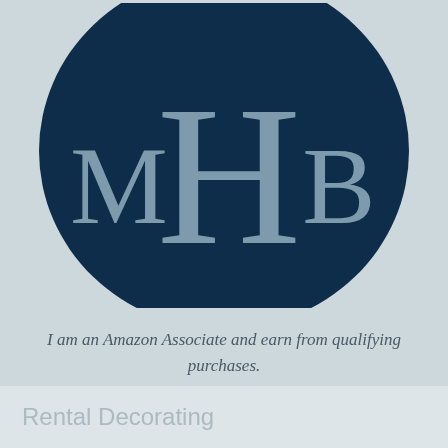[Figure (logo): Dark navy blue circular logo with monogram letters M, H, B in serif font. H is large and centered, M is to the left, B is to the right. Letters are in a lighter steel blue/grey color on the dark navy background.]
I am an Amazon Associate and earn from qualifying purchases.
Rental Decorating